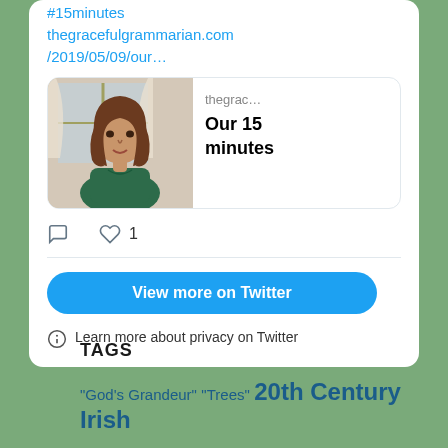[Figure (screenshot): Embedded Twitter/X tweet card showing a link to thegracefulgrammarian.com/2019/05/09/our... with a preview image of a woman and text 'thegrac... Our 15 minutes', along with comment and like icons (1 like), a 'View more on Twitter' button, and a privacy note.]
TAGS
"God's Grandeur" "Trees" 20th Century Irish